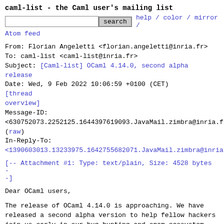caml-list - the Caml user's mailing list
search   help / color / mirror / Atom feed
From: Florian Angeletti <florian.angeletti@inria.fr>
To: caml-list <caml-list@inria.fr>
Subject: [Caml-list] OCaml 4.14.0, second alpha release
Date: Wed, 9 Feb 2022 10:06:59 +0100 (CET)    [thread overview]
Message-ID:
<630752073.2252125.1644397619093.JavaMail.zimbra@inria.fr
(raw)
In-Reply-To:
<1390603013.13233975.1642755682071.JavaMail.zimbra@inria.
[-- Attachment #1: Type: text/plain, Size: 4528 bytes --]
Dear OCaml users,
The release of OCaml 4.14.0 is approaching. We have released a second alpha version to help fellow hackers join us early in our bug hunting and opam ecosystem fixing fun (see below for the installation instructions).
You can see the progress on this front at https://github.com/ocaml/opam-repository/issues/20501 .
If you find any bugs, please report them here: